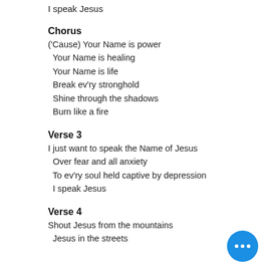I speak Jesus
Chorus
('Cause) Your Name is power
 Your Name is healing
 Your Name is life
 Break ev'ry stronghold
 Shine through the shadows
 Burn like a fire
Verse 3
I just want to speak the Name of Jesus
 Over fear and all anxiety
 To ev'ry soul held captive by depression
 I speak Jesus
Verse 4
Shout Jesus from the mountains
 Jesus in the streets